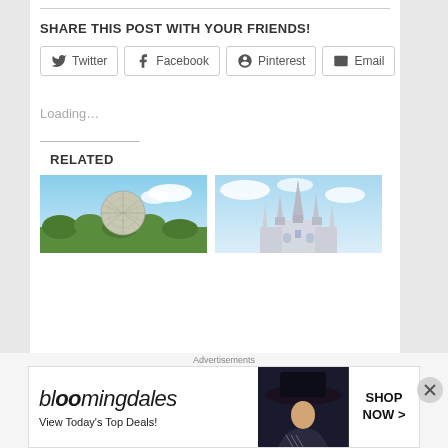SHARE THIS POST WITH YOUR FRIENDS!
Twitter
Facebook
Pinterest
Email
Loading...
RELATED
[Figure (photo): Epcot geodesic sphere with blue sky]
[Figure (photo): Disney castle spires against blue sky]
Advertisements
[Figure (infographic): Bloomingdales advertisement banner - View Today's Top Deals! SHOP NOW >]